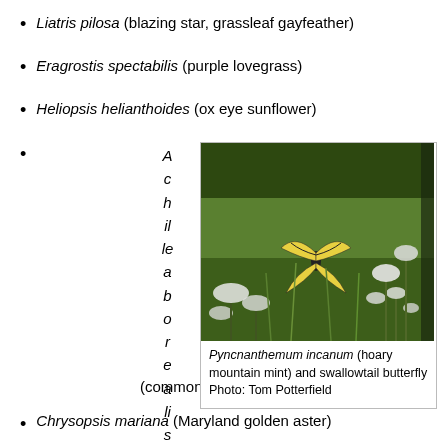Liatris pilosa (blazing star, grassleaf gayfeather)
Eragrostis spectabilis (purple lovegrass)
Heliopsis helianthoides (ox eye sunflower)
Achillea borealis (common yarrow)
[Figure (photo): A swallowtail butterfly on Pycnanthemum incanum (hoary mountain mint) in a meadow setting. Photo by Tom Potterfield.]
Pyncnanthemum incanum (hoary mountain mint) and swallowtail butterfly Photo: Tom Potterfield
Chrysopsis mariana (Maryland golden aster)